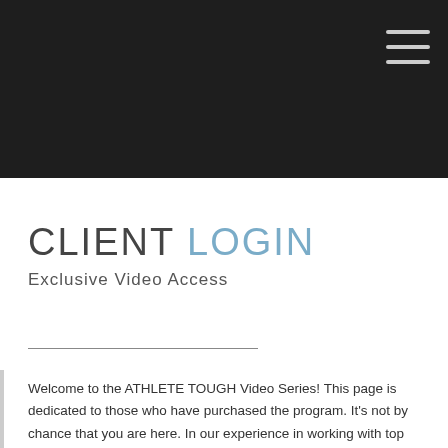[Figure (photo): Dark hero banner / navigation area with dark background and hamburger menu icon in upper right corner]
CLIENT LOGIN
Exclusive Video Access
Welcome to the ATHLETE TOUGH Video Series! This page is dedicated to those who have purchased the program. It's not by chance that you are here. In our experience in working with top